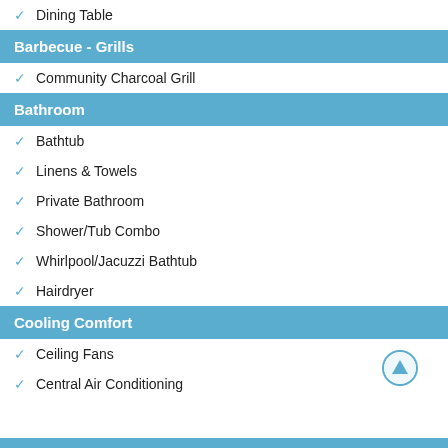Dining Table
Barbecue - Grills
Community Charcoal Grill
Bathroom
Bathtub
Linens & Towels
Private Bathroom
Shower/Tub Combo
Whirlpool/Jacuzzi Bathtub
Hairdryer
Cooling Comfort
Ceiling Fans
Central Air Conditioning